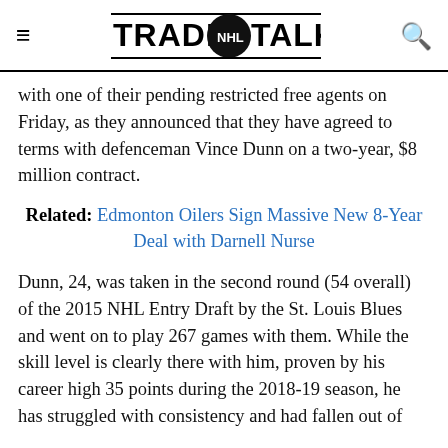TRADE NHL TALK
with one of their pending restricted free agents on Friday, as they announced that they have agreed to terms with defenceman Vince Dunn on a two-year, $8 million contract.
Related: Edmonton Oilers Sign Massive New 8-Year Deal with Darnell Nurse
Dunn, 24, was taken in the second round (54 overall) of the 2015 NHL Entry Draft by the St. Louis Blues and went on to play 267 games with them. While the skill level is clearly there with him, proven by his career high 35 points during the 2018-19 season, he has struggled with consistency and had fallen out of